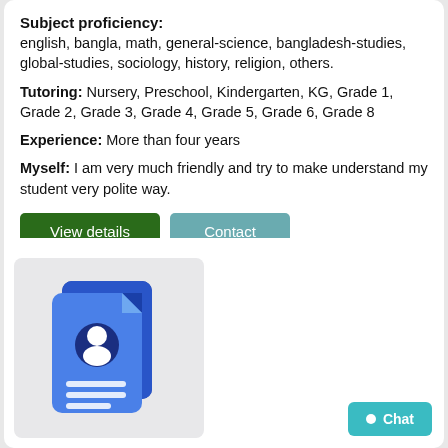Subject proficiency:
english, bangla, math, general-science, bangladesh-studies, global-studies, sociology, history, religion, others.
Tutoring: Nursery, Preschool, Kindergarten, KG, Grade 1, Grade 2, Grade 3, Grade 4, Grade 5, Grade 6, Grade 8
Experience: More than four years
Myself: I am very much friendly and try to make understand my student very polite way.
[Figure (illustration): Blue document/profile card icon with a person silhouette and horizontal lines, representing a tutor profile card]
Chat